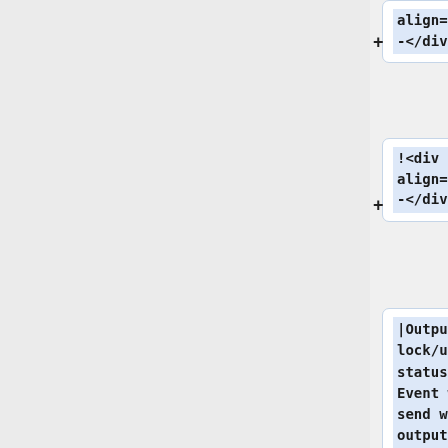+ align="center">-</div>
!<div align="center">-</div>
|Output x lock/unlock status: This Event will be send when output x is locked/unlock. y=0->Unlock, y=1->Lock
|-
!<div align="center">1</div>
!<div